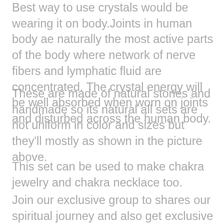Best way to use crystals would be wearing it on body.Joints in human body ae naturally the most active parts of the body where network of nerve fibers and lymphatic fluid are concentrated. The crystal energy will be well absorbed when worn on joints and disturbed across the human body.
These are made of natural stones and handmade so its natural all sets are not uniform in color and sizes but they'll mostly as shown in the picture above.
This set can be used to make chakra jewelry and chakra necklace too.
Join our exclusive group to shares our spiritual journey and also get exclusive access to our Discounts,Coupons & Giveaways.Subscribe Now